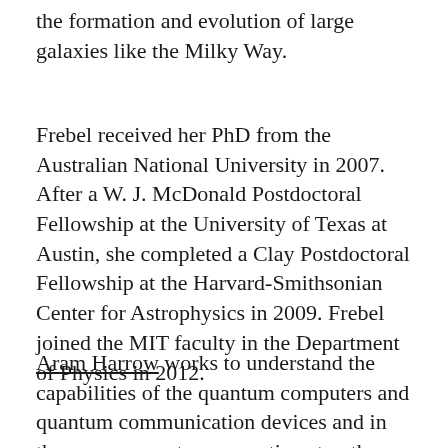the formation and evolution of large galaxies like the Milky Way.
Frebel received her PhD from the Australian National University in 2007. After a W. J. McDonald Postdoctoral Fellowship at the University of Texas at Austin, she completed a Clay Postdoctoral Fellowship at the Harvard-Smithsonian Center for Astrophysics in 2009. Frebel joined the MIT faculty in the Department of Physics in 2012.
Aram Harrow works to understand the capabilities of the quantum computers and quantum communication devices and in the process creates connections to other areas of theoretical physics, mathematics, and